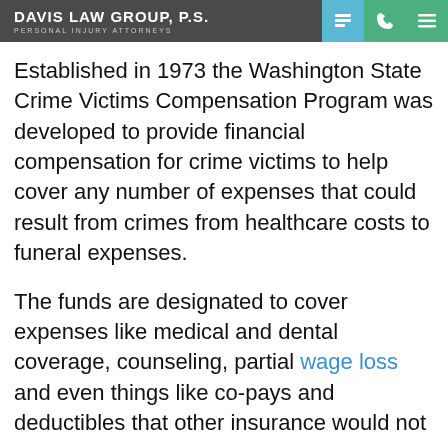DAVIS LAW GROUP, P.S. PERSONAL INJURY ATTORNEYS
Established in 1973 the Washington State Crime Victims Compensation Program was developed to provide financial compensation for crime victims to help cover any number of expenses that could result from crimes from healthcare costs to funeral expenses.
The funds are designated to cover expenses like medical and dental coverage, counseling, partial wage loss and even things like co-pays and deductibles that other insurance would not cover.
The maximum claim value is $190,000 with specific limits set for different categories of